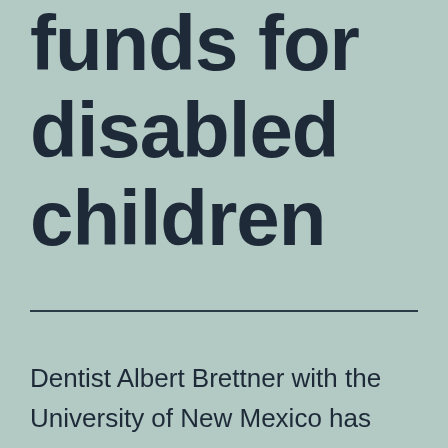funds for disabled children
Dentist Albert Brettner with the University of New Mexico has cared for developmentally disabled people for years, and one thing he